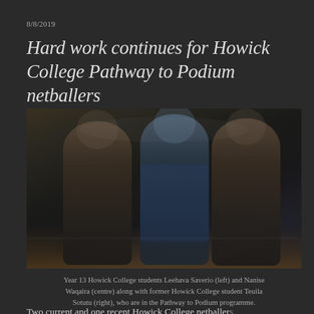8/8/2019
Hard work continues for Howick College Pathway to Podium netballers
[Figure (photo): Three young women standing together in a sports hall / netball court. The left and right women wear black sports tops; the centre woman wears a blue netball uniform. They are smiling.]
Year 13 Howick College students Leehava Saverio (left) and Nanise Waqaira (centre) along with former Howick College student Teuila Sotutu (right), who are in the Pathway to Podium programme.
Two current and one recent Howick College netballers